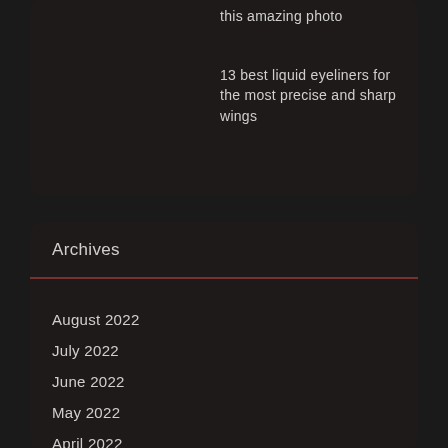this amazing photo
13 best liquid eyeliners for the most precise and sharp wings
Archives
August 2022
July 2022
June 2022
May 2022
April 2022
March 2022